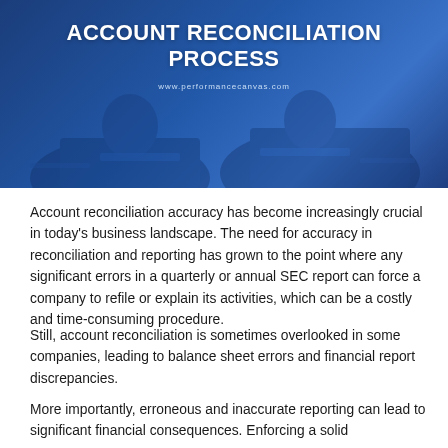[Figure (illustration): Blue-toned banner image showing people working at a desk, overlaid with bold white uppercase text reading 'ACCOUNT RECONCILIATION PROCESS' and the URL www.performancecanvas.com]
Account reconciliation accuracy has become increasingly crucial in today's business landscape. The need for accuracy in reconciliation and reporting has grown to the point where any significant errors in a quarterly or annual SEC report can force a company to refile or explain its activities, which can be a costly and time-consuming procedure.
Still, account reconciliation is sometimes overlooked in some companies, leading to balance sheet errors and financial report discrepancies.
More importantly, erroneous and inaccurate reporting can lead to significant financial consequences. Enforcing a solid